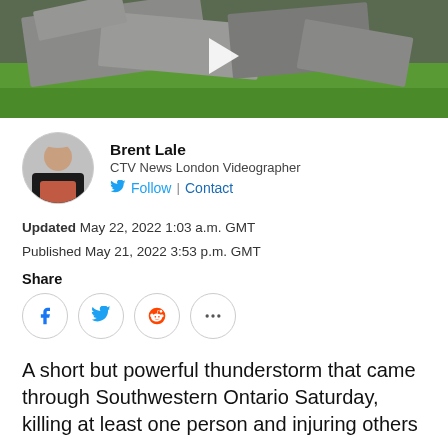[Figure (photo): Video thumbnail showing toppled concrete slabs or steps on grass, with a play button overlay]
Brent Lale
CTV News London Videographer
Follow | Contact
Updated May 22, 2022 1:03 a.m. GMT
Published May 21, 2022 3:53 p.m. GMT
Share
A short but powerful thunderstorm that came through Southwestern Ontario Saturday, killing at least one person and injuring others